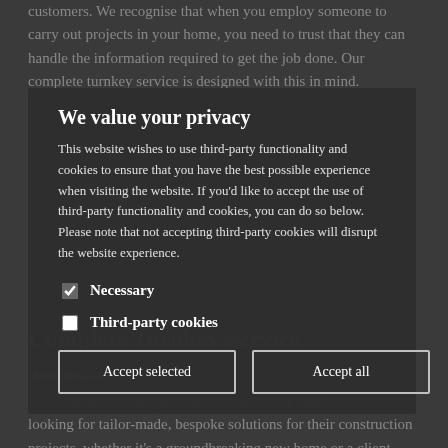customers. We recognise that when you employ someone to carry out projects in your home, you need to trust that they can handle the information required to get the job done. Our complete turnkey service is designed with this in mind.
We value your privacy
This website wishes to use third-party functionality and cookies to ensure that you have the best possible experience when visiting the website. If you'd like to accept the use of third-party functionality and cookies, you can do so below. Please note that not accepting third-party cookies will disrupt the website experience.
Complete Turnkey Service
More details
Necessary
Third-party cookies
Accept selected
Accept all